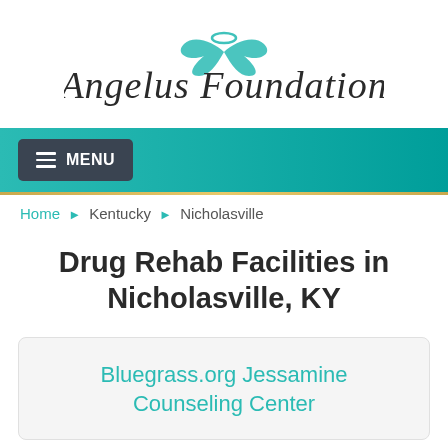[Figure (logo): Angelus Foundation logo with angel wings and cursive text]
[Figure (screenshot): Navigation bar with teal gradient background and MENU button]
Home › Kentucky › Nicholasville
Drug Rehab Facilities in Nicholasville, KY
Bluegrass.org Jessamine Counseling Center